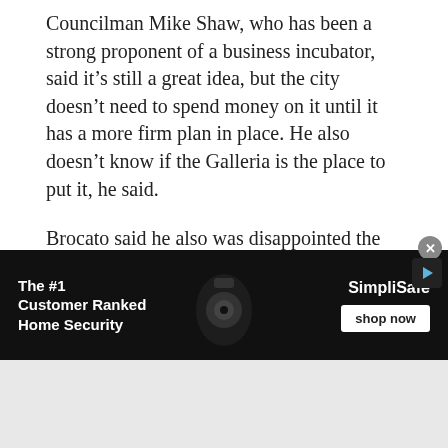Councilman Mike Shaw, who has been a strong proponent of a business incubator, said it's still a great idea, but the city doesn't need to spend money on it until it has a more firm plan in place. He also doesn't know if the Galleria is the place to put it, he said.
Brocato said he also was disappointed the council chose to remove so much funding for the community service agreements. So many of those organizations provide important services for Hoover residents, he said. He plans to ask the council to reconsider funding for those agencies, he said.
Lyda said he expects the council will indeed do some tweaking to the budget after hearing some of the
[Figure (other): Advertisement banner for SimpliSafe home security — dark background with text 'The #1 Customer Ranked Home Security', SimpliSafe logo, a camera image, and a 'shop now' button.]